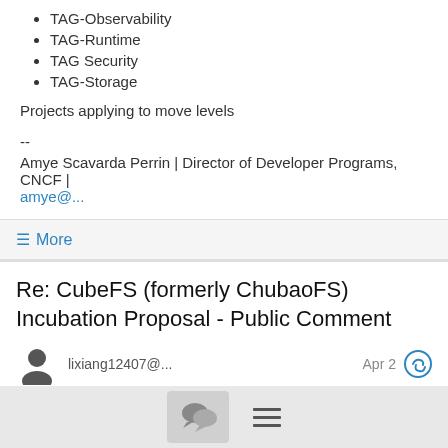TAG-Observability
TAG-Runtime
TAG Security
TAG-Storage
Projects applying to move levels
--
Amye Scavarda Perrin | Director of Developer Programs, CNCF | amye@...
≡ More
Re: CubeFS (formerly ChubaoFS) Incubation Proposal - Public Comment
lixiang12407@... Apr 2
+1 ↑↓